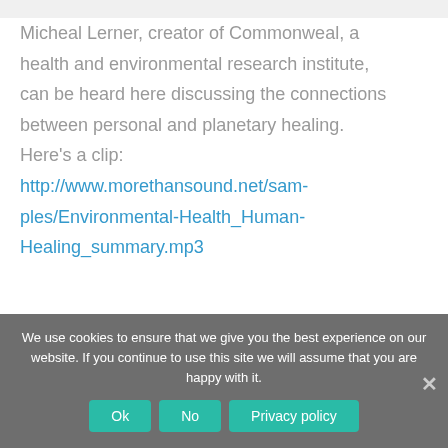Micheal Lerner, creator of Commonweal, a health and environmental research institute, can be heard here discussing the connections between personal and planetary healing. Here's a clip: http://www.morethansound.net/samples/Environmental-Health_Human-Healing_summary.mp3
We use cookies to ensure that we give you the best experience on our website. If you continue to use this site we will assume that you are happy with it.